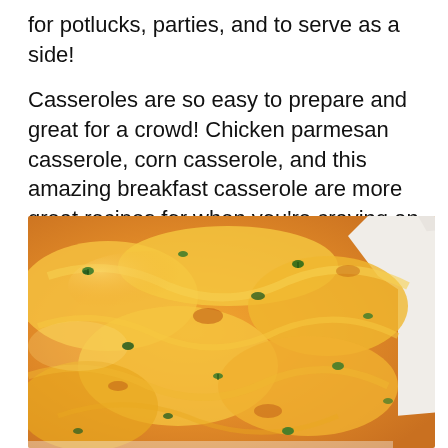for potlucks, parties, and to serve as a side!
Casseroles are so easy to prepare and great for a crowd! Chicken parmesan casserole, corn casserole, and this amazing breakfast casserole are more great recipes for when you're craving an easy, hearty meal.
[Figure (photo): Close-up photograph of a baked casserole dish with golden melted cheese on top, garnished with fresh green parsley flakes, in a white ceramic baking dish.]